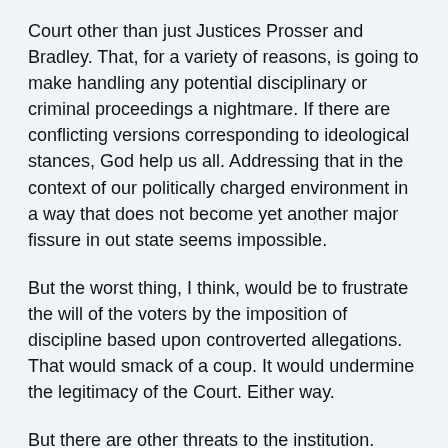Court other than just Justices Prosser and Bradley. That, for a variety of reasons, is going to make handling any potential disciplinary or criminal proceedings a nightmare. If there are conflicting versions corresponding to ideological stances, God help us all. Addressing that in the context of our politically charged environment in a way that does not become yet another major fissure in out state seems impossible.
But the worst thing, I think, would be to frustrate the will of the voters by the imposition of discipline based upon controverted allegations. That would smack of a coup. It would undermine the legitimacy of the Court. Either way.
But there are other threats to the institution. Lawyers have been worried about the divisions on the Court for some time now. It's one thing to disagree, but disagreement ought not to undermine civility and respect. No one likes to say too much about it in public for fear of alienating the people who may decide their clients' matters. I include myself among this reluctant group.